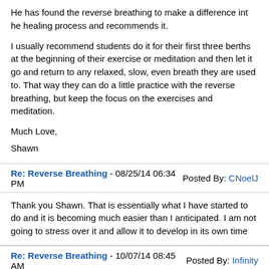He has found the reverse breathing to make a difference int he healing process and recommends it.
I usually recommend students do it for their first three berths at the beginning of their exercise or meditation and then let it go and return to any relaxed, slow, even breath they are used to. That way they can do a little practice with the reverse breathing, but keep the focus on the exercises and meditation.
Much Love,
Shawn
Re: Reverse Breathing - 08/25/14 06:34 PM   Posted By: CNoelJ
Thank you Shawn. That is essentially what I have started to do and it is becoming much easier than I anticipated. I am not going to stress over it and allow it to develop in its own time
Re: Reverse Breathing - 10/07/14 08:45 AM   Posted By: Infinity
Hi I have been doing the SFQ for about a year and have also just been doing full belly breathing up until a week ago.
The reverse breathing feels much more powerful but is taking a little